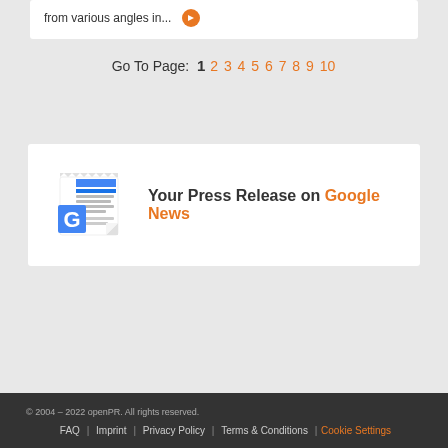from various angles in... →
Go To Page: 1 2 3 4 5 6 7 8 9 10
[Figure (illustration): Google News icon with newspaper and letter G]
Your Press Release on Google News
© 2004 – 2022 openPR. All rights reserved.
FAQ | Imprint | Privacy Policy | Terms & Conditions | Cookie Settings